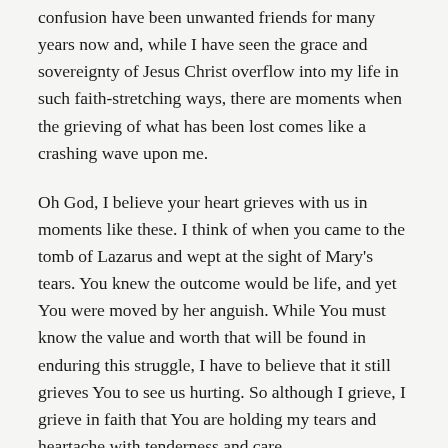confusion have been unwanted friends for many years now and, while I have seen the grace and sovereignty of Jesus Christ overflow into my life in such faith-stretching ways, there are moments when the grieving of what has been lost comes like a crashing wave upon me.
Oh God, I believe your heart grieves with us in moments like these. I think of when you came to the tomb of Lazarus and wept at the sight of Mary's tears. You knew the outcome would be life, and yet You were moved by her anguish. While You must know the value and worth that will be found in enduring this struggle, I have to believe that it still grieves You to see us hurting. So although I grieve, I grieve in faith that You are holding my tears and heartache with tenderness and care.
As much as I find comfort in the story of Lazarus, I still can't ignore that You chose to delay after receiving word of